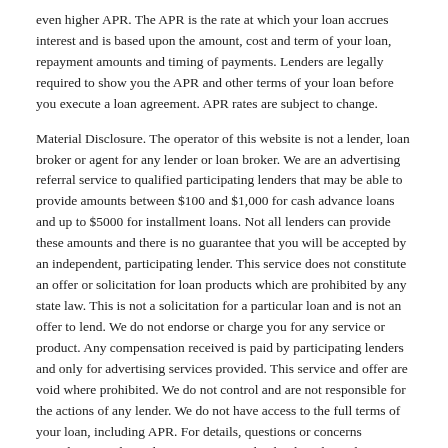even higher APR. The APR is the rate at which your loan accrues interest and is based upon the amount, cost and term of your loan, repayment amounts and timing of payments. Lenders are legally required to show you the APR and other terms of your loan before you execute a loan agreement. APR rates are subject to change.
Material Disclosure. The operator of this website is not a lender, loan broker or agent for any lender or loan broker. We are an advertising referral service to qualified participating lenders that may be able to provide amounts between $100 and $1,000 for cash advance loans and up to $5000 for installment loans. Not all lenders can provide these amounts and there is no guarantee that you will be accepted by an independent, participating lender. This service does not constitute an offer or solicitation for loan products which are prohibited by any state law. This is not a solicitation for a particular loan and is not an offer to lend. We do not endorse or charge you for any service or product. Any compensation received is paid by participating lenders and only for advertising services provided. This service and offer are void where prohibited. We do not control and are not responsible for the actions of any lender. We do not have access to the full terms of your loan, including APR. For details, questions or concerns regarding your loan please contact your lender directly. Only your lender can provide you with information about your specific loan terms, their current rates and charges, renewal, payments and the implications for non-payment or skipped payments. The registration information submitted by you on this website will be shared with one or more participating lenders. You are under no obligation to use our service to initiate contact with a lender, apply for credit or any loan product, or accept a loan from a participating lender. Cash transfer times and repayment terms vary between lenders. Repayment terms may be regulated by state